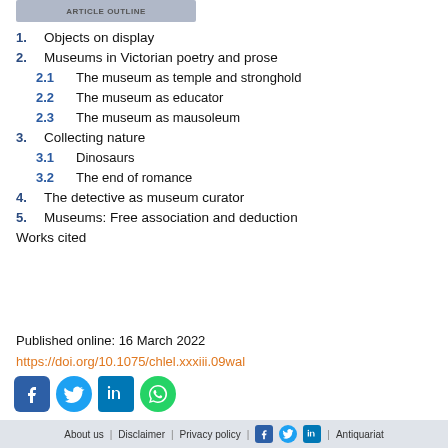[Figure (other): Partial header/logo banner at top of page]
1. Objects on display
2. Museums in Victorian poetry and prose
2.1 The museum as temple and stronghold
2.2 The museum as educator
2.3 The museum as mausoleum
3. Collecting nature
3.1 Dinosaurs
3.2 The end of romance
4. The detective as museum curator
5. Museums: Free association and deduction
Works cited
Published online: 16 March 2022
https://doi.org/10.1075/chlel.xxxiii.09wal
[Figure (other): Social media icons: Facebook, Twitter, LinkedIn, WhatsApp]
About us | Disclaimer | Privacy policy | [Facebook icon] | [Twitter icon] | [LinkedIn icon] | Antiquariat